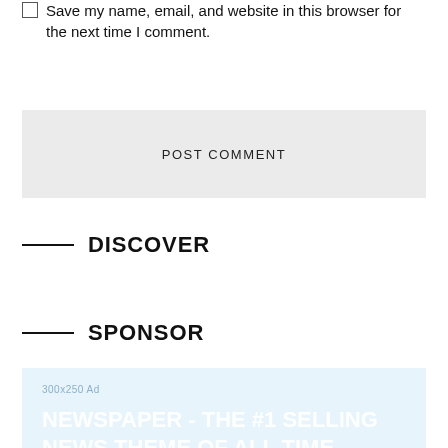Save my name, email, and website in this browser for the next time I comment.
POST COMMENT
DISCOVER
SPONSOR
[Figure (other): Advertisement placeholder banner with light blue background showing '300x250 Ad' label and 'NEWSPAPER - The #1 SELLING news theme of all time' text overlay]